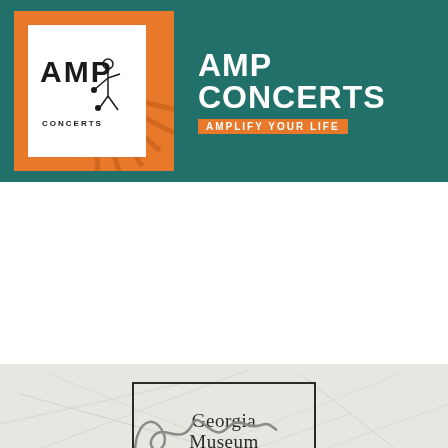[Figure (logo): AMP Concerts logo banner on dark teal background with orange sunburst ticket logo and white text reading AMP CONCERTS / AMPLIFY YOUR LIFE]
[Figure (logo): Georgia O'Keeffe Museum logo with black bordered box showing Georgia / O'Keeffe signature / Museum text and 25 YEARS below, on textured gray background]
[Figure (logo): Thornburg logo with orange bracket/square graphic and navy blue bold text reading Thornburg]